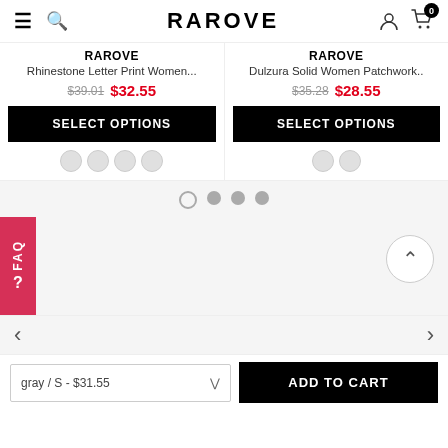RAROVE
RAROVE
Rhinestone Letter Print Women...
$39.01  $32.55
RAROVE
Dulzura Solid Women Patchwork..
$35.28  $28.55
SELECT OPTIONS
SELECT OPTIONS
[Figure (screenshot): Pagination dots: one empty circle, three filled gray circles]
[Figure (screenshot): FAQ button on left side, back-to-top arrow button on right]
< >
gray / S - $31.55  ADD TO CART